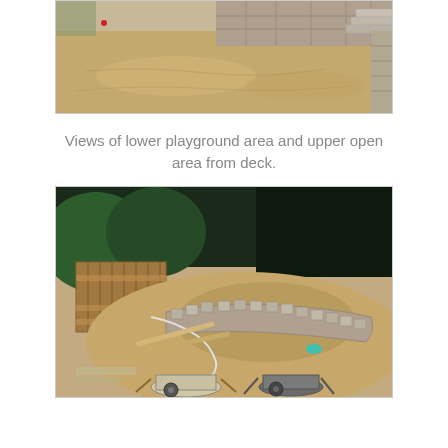[Figure (photo): Aerial/ground view of a landscaping construction site showing graded bare earth with stone steps and retaining wall in the background.]
Views of lower playground area and upper open area from deck.
[Figure (photo): Overhead view from a deck of a lower playground area under construction, showing bare earth, a wooden fence panel, curved stone edging/retaining border, and two wheelbarrows in the foreground, with dense trees in the background.]